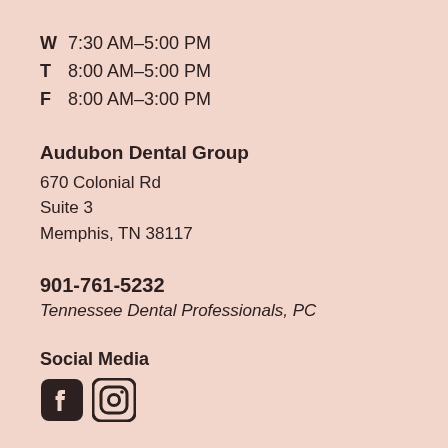W  7:30 AM–5:00 PM
T  8:00 AM–5:00 PM
F  8:00 AM–3:00 PM
Audubon Dental Group
670 Colonial Rd
Suite 3
Memphis, TN 38117
901-761-5232
Tennessee Dental Professionals, PC
Social Media
[Figure (logo): Facebook and Instagram social media icons]